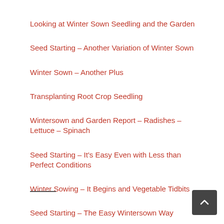Looking at Winter Sown Seedling and the Garden
Seed Starting – Another Variation of Winter Sown
Winter Sown – Another Plus
Transplanting Root Crop Seedling
Wintersown and Garden Report – Radishes – Lettuce – Spinach
Seed Starting – It's Easy Even with Less than Perfect Conditions
Winter Sowing – It Begins and Vegetable Tidbits
Seed Starting – The Easy Wintersown Way